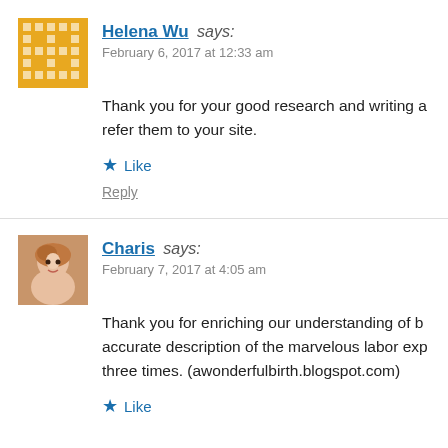Helena Wu says:
February 6, 2017 at 12:33 am
Thank you for your good research and writing a... refer them to your site.
★ Like
Reply
Charis says:
February 7, 2017 at 4:05 am
Thank you for enriching our understanding of b... accurate description of the marvelous labor exp... three times. (awonderfulbirth.blogspot.com)
★ Like